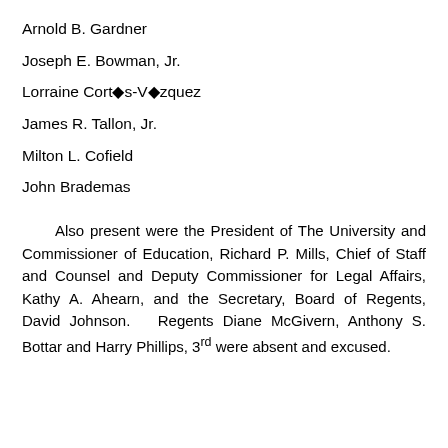Arnold B. Gardner
Joseph E. Bowman, Jr.
Lorraine Cortés-Vázquez
James R. Tallon, Jr.
Milton L. Cofield
John Brademas
Also present were the President of The University and Commissioner of Education, Richard P. Mills, Chief of Staff and Counsel and Deputy Commissioner for Legal Affairs, Kathy A. Ahearn, and the Secretary, Board of Regents, David Johnson. Regents Diane McGivern, Anthony S. Bottar and Harry Phillips, 3rd were absent and excused.